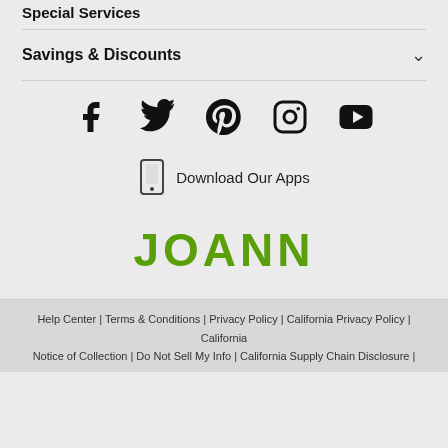Special Services
Savings & Discounts
[Figure (infographic): Social media icons: Facebook, Twitter, Pinterest, Instagram, YouTube]
Download Our Apps
JOANN
Help Center | Terms & Conditions | Privacy Policy | California Privacy Policy | California Notice of Collection | Do Not Sell My Info | California Supply Chain Disclosure |